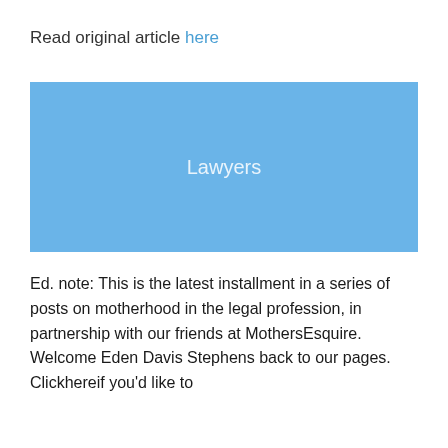Read original article here
[Figure (illustration): Blue placeholder image with centered text 'Lawyers']
Ed. note: This is the latest installment in a series of posts on motherhood in the legal profession, in partnership with our friends at MothersEsquire. Welcome Eden Davis Stephens back to our pages. Clickhereif you'd like to